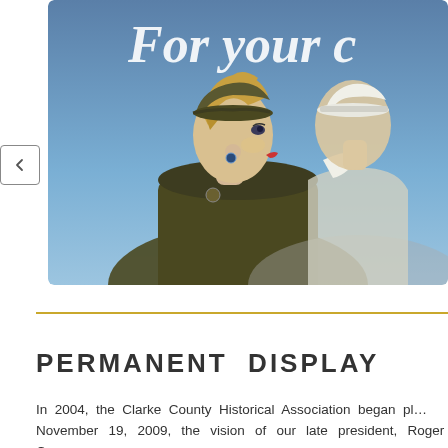[Figure (illustration): WWII-era recruitment poster showing two women in military uniform (Army and Navy) in profile view against a blue background, with cursive text 'For your c...' partially visible at the top. A navigation back button (left chevron) is visible on the left side of the image viewer.]
PERMANENT  DISPLAY
In 2004, the Clarke County Historical Association began pl... November 19, 2009, the vision of our late president, Roger C...